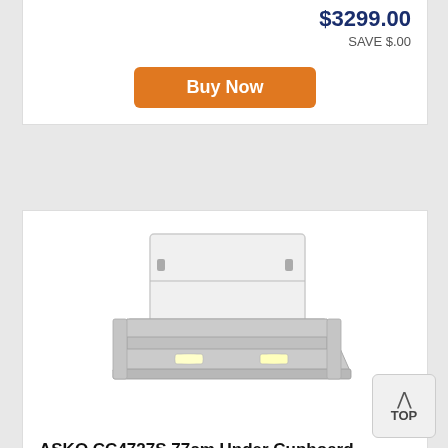$3299.00
SAVE $.00
Buy Now
[Figure (photo): ASKO CC4727S 77cm Under Cupboard Rangehood product photo showing a stainless steel slide-out range hood with white cabinet box on top]
ASKO CC4727S 77cm Under Cupboard Rangehood
great deals including free delivery & removal when you buy the asko cc4727s 77cm under...
[Figure (logo): Appliances Online logo — teal circular swirl icon with 'appliancesonline' text below]